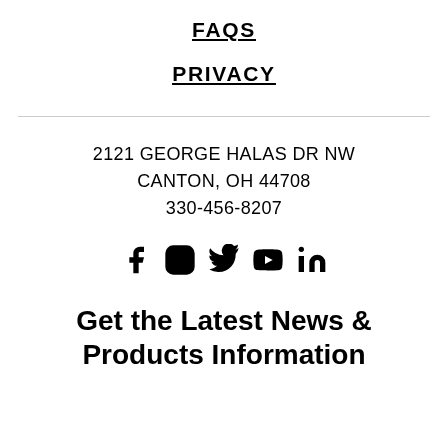FAQS
PRIVACY
2121 GEORGE HALAS DR NW
CANTON, OH 44708
330-456-8207
[Figure (infographic): Social media icons: Facebook, Instagram, Twitter, YouTube, LinkedIn]
Get the Latest News & Products Information